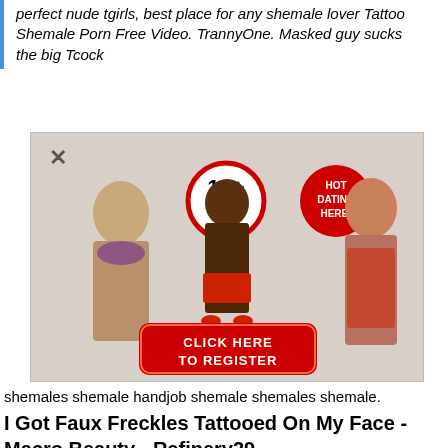perfect nude tgirls, best place for any shemale lover Tattoo Shemale Porn Free Video. TrannyOne. Masked guy sucks the big Tcock
[Figure (illustration): Adult dating advertisement banner with three women posing, an 18+ adults only badge, a 'HOT DATING HERE!' badge, and a red 'CLICK HERE TO REGISTER' button. An X close button is in the top-left corner.]
shemales shemale handjob shemale shemales shemale.
I Got Faux Freckles Tattooed On My Face - Macro Beauty - Refinery29